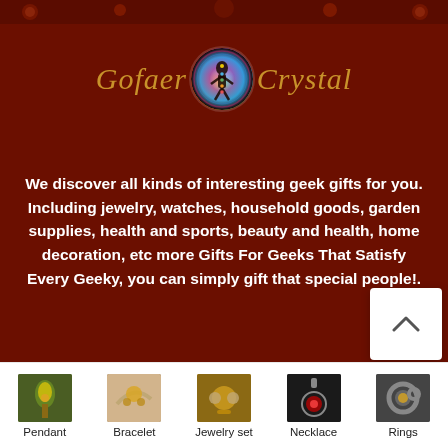[Figure (logo): Gofaer Crystal logo with stylized script text and a circular meditation/chakra figure in the center]
We discover all kinds of interesting geek gifts for you. Including jewelry, watches, household goods, garden supplies, health and sports, beauty and health, home decoration, etc more Gifts For Geeks That Satisfy Every Geeky, you can simply gift that special people!.
- 1 +
ADD TO CART
Pendant
Bracelet
Jewelry set
Necklace
Rings